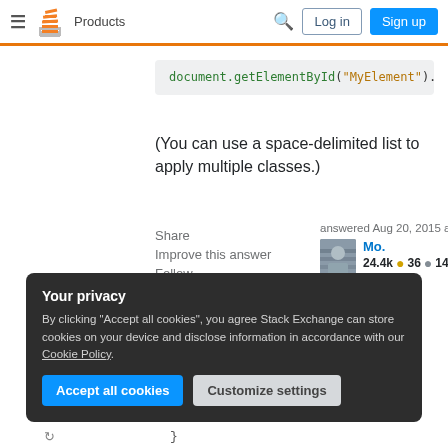≡  [Stack Overflow logo]  Products  🔍  Log in  Sign up
[Figure (screenshot): Code block showing: document.getElementById("MyElement").classN]
(You can use a space-delimited list to apply multiple classes.)
Share
Improve this answer
Follow
answered Aug 20, 2015 at 8:38
Mo.
24.4k ● 36 ● 148 ● 216
Add a comment
Your privacy
By clicking "Accept all cookies", you agree Stack Exchange can store cookies on your device and disclose information in accordance with our Cookie Policy.
Accept all cookies
Customize settings